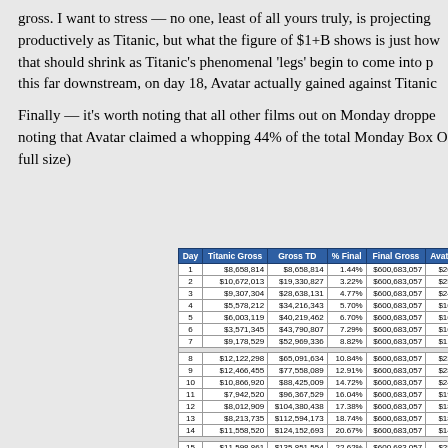gross.  I want to stress — no one, least of all yours truly, is projecting productively as Titanic, but what the figure of $1+B shows is just how that should shrink as Titanic's phenomenal 'legs' begin to come into p this far downstream, on day 18, Avatar actually gained against Titanic
Finally — it's worth noting that all other films out on Monday droppe noting that Avatar claimed a whopping 44% of the total Monday Box O full size)
| Day | Titanic Gross | Gross TD | % Final | Final Gross | Avata |
| --- | --- | --- | --- | --- | --- |
| 1 | $8,658,814 | $8,658,814 | 1.44% | $600,683,057 | $26, |
| 2 | $10,672,013 | $19,330,827 | 3.22% | $600,683,057 | $25, |
| 3 | $9,307,304 | $28,638,131 | 4.77% | $600,683,057 | $24, |
| 4 | $5,578,212 | $34,216,343 | 5.70% | $600,683,057 | $16, |
| 5 | $6,003,119 | $40,219,462 | 6.70% | $600,683,057 | $16, |
| 6 | $3,571,345 | $43,790,807 | 7.29% | $600,683,057 | $16, |
| 7 | $9,178,529 | $52,969,336 | 8.82% | $600,683,057 | $11, |
|  |  |  |  |  |  |
| 8 | $12,122,298 | $65,091,634 | 10.84% | $600,683,057 | $23, |
| 9 | $12,466,455 | $77,558,089 | 12.91% | $600,683,057 | $28, |
| 10 | $10,866,920 | $88,425,009 | 14.72% | $600,683,057 | $24, |
| 11 | $7,942,520 | $96,367,529 | 16.04% | $600,683,057 | $19, |
| 12 | $8,012,909 | $104,380,438 | 17.38% | $600,683,057 | $18, |
| 13 | $8,213,735 | $112,594,173 | 18.74% | $600,683,057 | $18, |
| 14 | $11,558,520 | $124,152,693 | 20.67% | $600,683,057 | $14, |
|  |  |  |  |  |  |
| 15 | $11,598,861 | $135,851,554 | 22.62% | $600,683,057 | $25, |
| 16 | $12,726,625 | $148,578,179 | 24.73% | $600,683,057 | $25, |
| 17 | $8,889,792 | $157,467,971 | 26.21% | $600,683,057 | $17, |
| 18 | $3,022,271 | $160,490,242 | 26.72% | $600,683,057 | $8, |